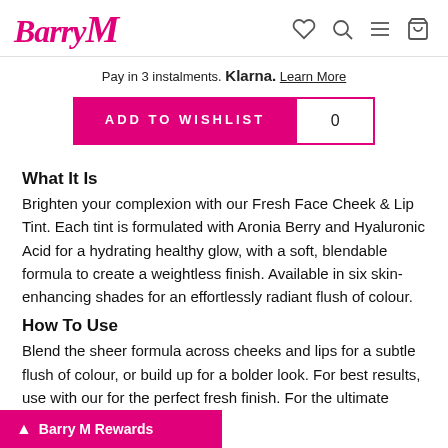Barry M — navigation header with logo and icons (wishlist, search, menu, bag)
Pay in 3 instalments. Klarna. Learn More
ADD TO WISHLIST  0
What It Is
Brighten your complexion with our Fresh Face Cheek & Lip Tint. Each tint is formulated with Aronia Berry and Hyaluronic Acid for a hydrating healthy glow, with a soft, blendable formula to create a weightless finish. Available in six skin-enhancing shades for an effortlessly radiant flush of colour.
How To Use
Blend the sheer formula across cheeks and lips for a subtle flush of colour, or build up for a bolder look. For best results, use with our for the perfect fresh finish. For the ultimate
Barry M Rewards